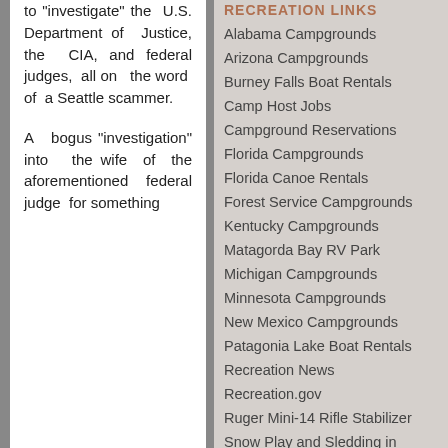to "investigate" the U.S. Department of Justice, the CIA, and federal judges, all on the word of a Seattle scammer.

A bogus "investigation" into the wife of the aforementioned federal judge for something
RECREATION LINKS
Alabama Campgrounds
Arizona Campgrounds
Burney Falls Boat Rentals
Camp Host Jobs
Campground Reservations
Florida Campgrounds
Florida Canoe Rentals
Forest Service Campgrounds
Kentucky Campgrounds
Matagorda Bay RV Park
Michigan Campgrounds
Minnesota Campgrounds
New Mexico Campgrounds
Patagonia Lake Boat Rentals
Recreation News
Recreation.gov
Ruger Mini-14 Rifle Stabilizer
Snow Play and Sledding in Arizona
Texas Campgrounds
Texas Marina